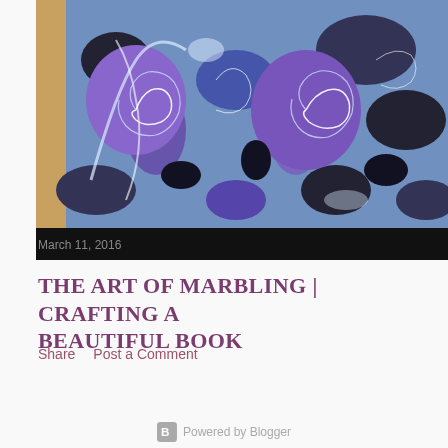[Figure (photo): Marbled paper with swirling purple, blue, black, and white patterns on a wooden surface background]
March 11, 2016
THE ART OF MARBLING | CRAFTING A BEAUTIFUL BOOK
Share    Post a Comment
Powered by Blogger